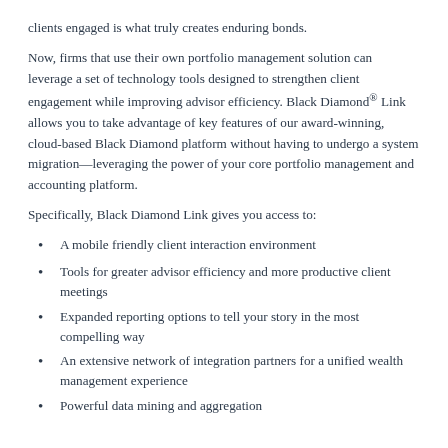clients engaged is what truly creates enduring bonds.
Now, firms that use their own portfolio management solution can leverage a set of technology tools designed to strengthen client engagement while improving advisor efficiency. Black Diamond® Link allows you to take advantage of key features of our award-winning, cloud-based Black Diamond platform without having to undergo a system migration—leveraging the power of your core portfolio management and accounting platform.
Specifically, Black Diamond Link gives you access to:
A mobile friendly client interaction environment
Tools for greater advisor efficiency and more productive client meetings
Expanded reporting options to tell your story in the most compelling way
An extensive network of integration partners for a unified wealth management experience
Powerful data mining and aggregation